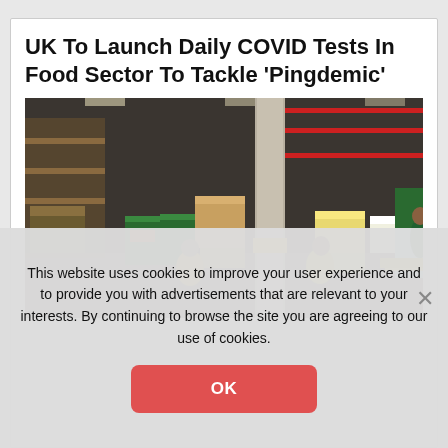UK To Launch Daily COVID Tests In Food Sector To Tackle 'Pingdemic'
[Figure (photo): Warehouse workers in high-visibility jackets sorting food and produce crates in a large distribution centre with shelving in the background.]
This website uses cookies to improve your user experience and to provide you with advertisements that are relevant to your interests. By continuing to browse the site you are agreeing to our use of cookies.